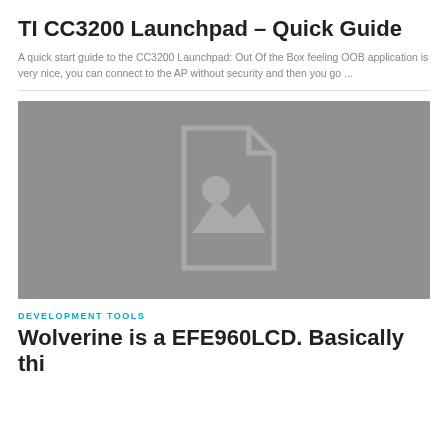TI CC3200 Launchpad – Quick Guide
A quick start guide to the CC3200 Launchpad: Out Of the Box feeling OOB application is very nice, you can connect to the AP without security and then you go ...
[Figure (photo): Placeholder image with a document/image icon on a grey background]
DEVELOPMENT TOOLS
Wolverine is a EFE960LCD. Basically this